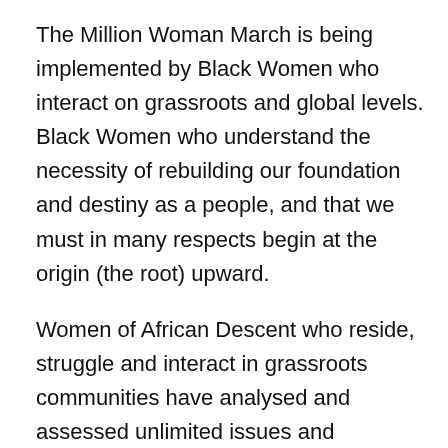The Million Woman March is being implemented by Black Women who interact on grassroots and global levels. Black Women who understand the necessity of rebuilding our foundation and destiny as a people, and that we must in many respects begin at the origin (the root) upward.
Women of African Descent who reside, struggle and interact in grassroots communities have analysed and assessed unlimited issues and problems. Many of which have resulted in the deterioration of African-American and African people overall. The Million Woman March is capable and ready to create and implement strategic methods of resolving such matters.
The Million Woman March provides us the opportunity to prioritize the human and environmental issues. It will collectively enable us to develop an assertive and